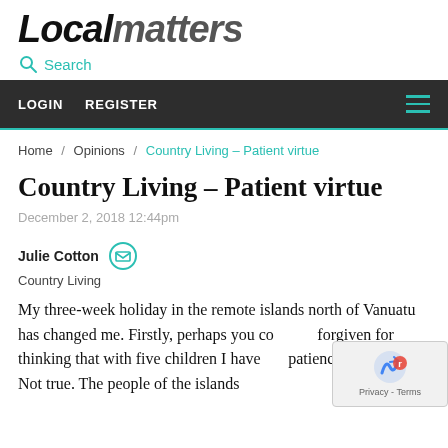LocalMatters
Search
LOGIN  REGISTER
Home / Opinions / Country Living – Patient virtue
Country Living – Patient virtue
December 2, 2018 12:44pm
Julie Cotton
Country Living
My three-week holiday in the remote islands north of Vanuatu has changed me. Firstly, perhaps you could be forgiven for thinking that with five children I have the patience of a saint? Not true. The people of the islands